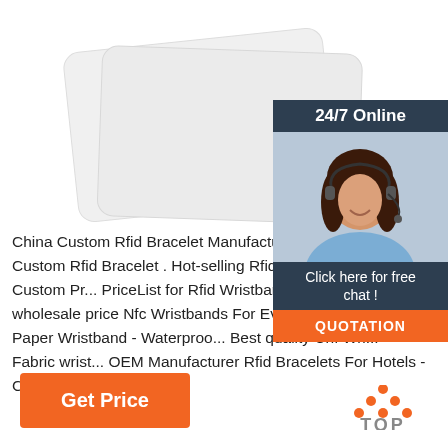[Figure (photo): Two white RFID/NFC card blanks overlapping on white background]
[Figure (infographic): Customer service widget showing '24/7 Online' header, woman with headset, 'Click here for free chat!' and orange QUOTATION button]
China Custom Rfid Bracelet Manufacturers And Fac... Custom Rfid Bracelet . Hot-selling Rfid Wristband C... Custom Pr... PriceList for Rfid Wristband Technology... wholesale price Nfc Wristbands For Events ... Best ... Paper Wristband - Waterproo... Best quality Uhf Wri... Fabric wrist... OEM Manufacturer Rfid Bracelets For Hotels - C...
[Figure (logo): Orange dot triangle above orange TOP text - back to top button]
[Figure (other): Orange 'Get Price' button]